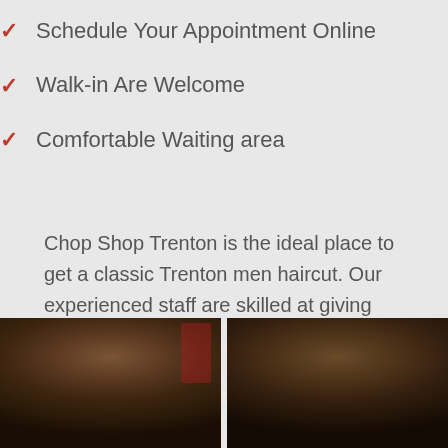Schedule Your Appointment Online
Walk-in Are Welcome
Comfortable Waiting area
Chop Shop Trenton is the ideal place to get a classic Trenton men haircut. Our experienced staff are skilled at giving precise haircuts and give expert care and attention to each customer that walks through our doors.
[Figure (photo): Two side-by-side photos of men's haircuts showing the back/top of the head with dark hair, taken in a barbershop setting]